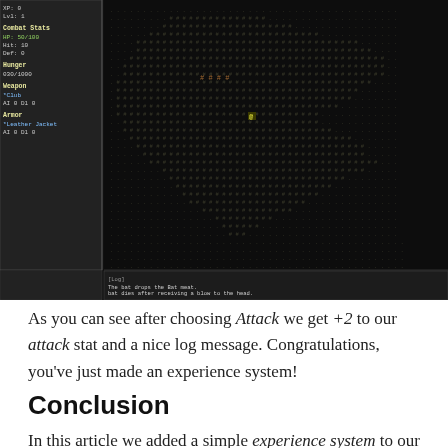[Figure (screenshot): A roguelike game screenshot showing a dark tile-based map with a player character visible, a sidebar with stats (XP, Lvl, Combat Stats HP 50/100, Hit 10, Def 0, Hunger 030/1000, Weapon Club AI 0 Dl 0, Armor Leather Jacket AI 0 Dl 0), and a log panel at the bottom showing messages about a bat dropping bat meat, the bat dying, the player picking up bat meat, and a zombie hitting the player.]
As you can see after choosing Attack we get +2 to our attack stat and a nice log message. Congratulations, you've just made an experience system!
Conclusion
In this article we added a simple experience system to our game complete with stat boosts and levels. As a fun